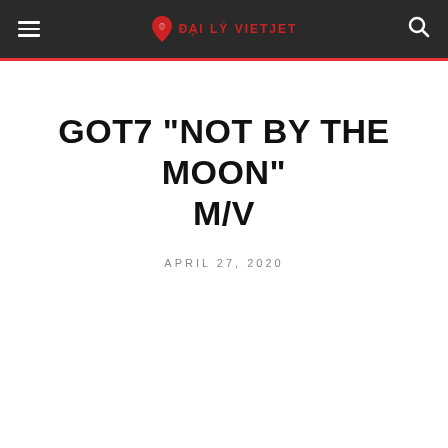ĐẠI LÝ VIETJET
GOT7 "NOT BY THE MOON" M/V
APRIL 27, 2020